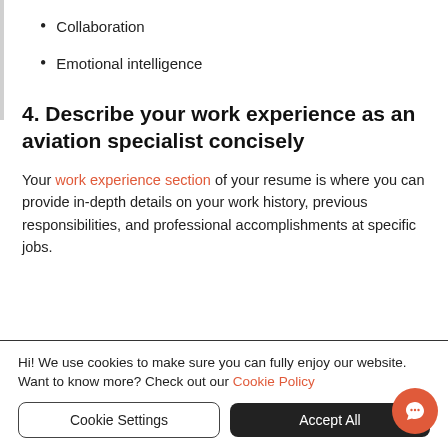Collaboration
Emotional intelligence
4. Describe your work experience as an aviation specialist concisely
Your work experience section of your resume is where you can provide in-depth details on your work history, previous responsibilities, and professional accomplishments at specific jobs.
Hi! We use cookies to make sure you can fully enjoy our website. Want to know more? Check out our Cookie Policy
Cookie Settings
Accept All